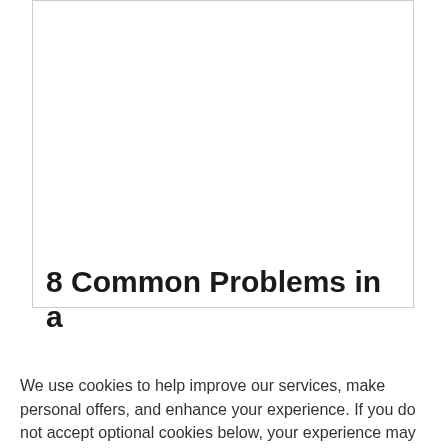[Figure (screenshot): Partial article preview box with border showing top portion of a webpage]
8 Common Problems in a
We use cookies to help improve our services, make personal offers, and enhance your experience. If you do not accept optional cookies below, your experience may be affected. If you want to know more, please read the Cookie Policy -> We use cookies to improve our services, make personal offers, and enhance your experience. If you do not accept optional cookies below, your experience may be affected. If you want to know
ACCEPT COOKIES
CUSTOM SETTINGS